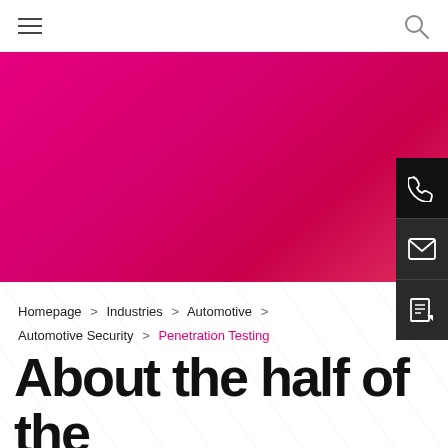Navigation bar with hamburger menu and search icon
[Figure (illustration): Magenta/pink gradient hero banner background]
[Figure (illustration): Dark sidebar contact buttons: phone, email, notes on right edge]
Homepage > Industries > Automotive > Automotive Security > Penetration Testing
Abo...